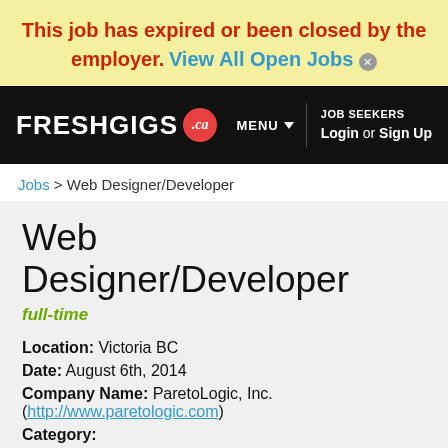This job has expired or been closed by the employer. View All Open Jobs ×
FRESHGIGS .ca | MENU | JOB SEEKERS Login or Sign Up
Jobs > Web Designer/Developer
Web Designer/Developer
full-time
Location: Victoria BC
Date: August 6th, 2014
Company Name: ParetoLogic, Inc. (http://www.paretologic.com)
Category: